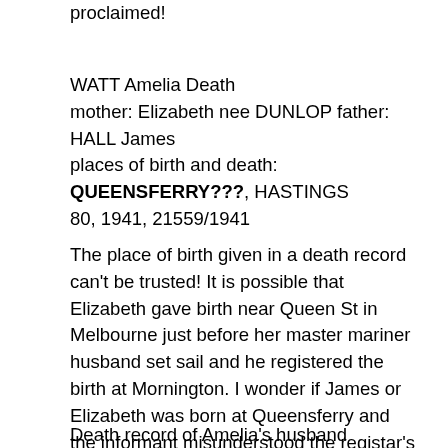proclaimed!
WATT Amelia Death
mother: Elizabeth nee DUNLOP father: HALL James
places of birth and death:
QUEENSFERRY???, HASTINGS
80, 1941, 21559/1941
The place of birth given in a death record can't be trusted! It is possible that Elizabeth gave birth near Queen St in Melbourne just before her master mariner husband set sail and he registered the birth at Mornington. I wonder if James or Elizabeth was born at Queensferry and the informant misunderstood the registar's question.
Death record of Amelia's husband